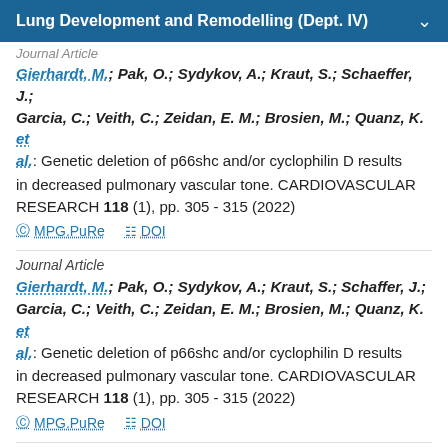Lung Development and Remodelling (Dept. IV)
Journal Article
Gierhardt, M.; Pak, O.; Sydykov, A.; Kraut, S.; Schaeffer, J.; Garcia, C.; Veith, C.; Zeidan, E. M.; Brosien, M.; Quanz, K. et al.: Genetic deletion of p66shc and/or cyclophilin D results in decreased pulmonary vascular tone. CARDIOVASCULAR RESEARCH 118 (1), pp. 305 - 315 (2022)
MPG.PuRe   DOI
Journal Article
Gierhardt, M.; Pak, O.; Sydykov, A.; Kraut, S.; Schaffer, J.; Garcia, C.; Veith, C.; Zeidan, E. M.; Brosien, M.; Quanz, K. et al.: Genetic deletion of p66shc and/or cyclophilin D results in decreased pulmonary vascular tone. CARDIOVASCULAR RESEARCH 118 (1), pp. 305 - 315 (2022)
MPG.PuRe   DOI
Journal Article